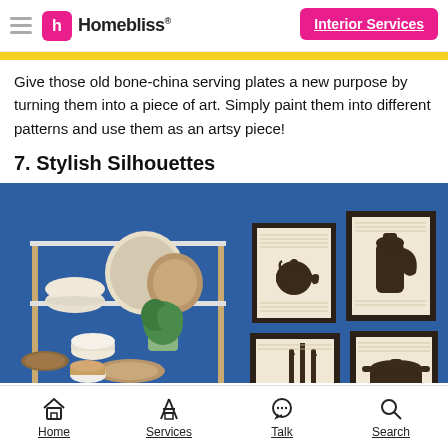Homebliss® | Interior Services
Give those old bone-china serving plates a new purpose by turning them into a piece of art. Simply paint them into different patterns and use them as an artsy piece!
7. Stylish Silhouettes
[Figure (photo): Kitchen shelf with plates, bowls and wooden items against a blue wall, with framed silhouette art prints of kitchen items (teapot, jug, utensils, pot) hung on the right side of the wall.]
Home | Services | Talk | Search